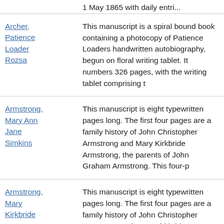1 May 1865 with daily entri...
Archer, Patience Loader Rozsa | This manuscript is a spiral bound book containing a photocopy of Patience Loaders handwritten autobiography, begun on floral writing tablet. It numbers 326 pages, with the writing tablet comprising t
Armstrong, Mary Ann Jane Simkins | This manuscript is eight typewritten pages long. The first four pages are a family history of John Christopher Armstrong and Mary Kirkbride Armstrong, the parents of John Graham Armstrong. This four-p
Armstrong, Mary Kirkbride | This manuscript is eight typewritten pages long. The first four pages are a family history of John Christopher Armstrong and Mary Kirkbride Armstrong. Johns biography is two pages long and speaks mos
Arrington | Janell Arrington's autobiography consists of